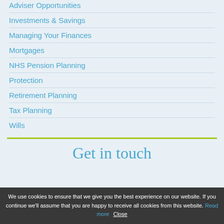Adviser Opportunities
Investments & Savings
Managing Your Finances
Mortgages
NHS Pension Planning
Protection
Retirement Planning
Tax Planning
Wills
Get in touch
We use cookies to ensure that we give you the best experience on our website. If you continue we'll assume that you are happy to receive all cookies from this website. Read more Close